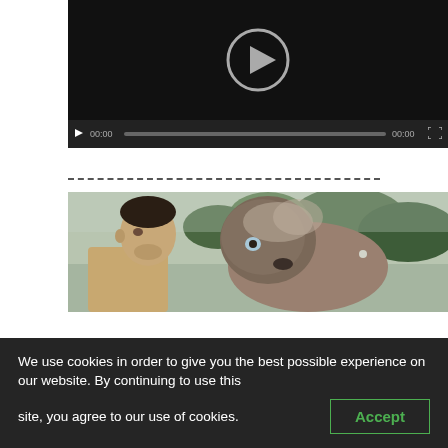[Figure (screenshot): Video player with dark background showing a circular play button icon in the center, with video controls bar at the bottom showing play button, time display 00:00, progress bar, end time 00:00, and fullscreen button.]
[Figure (photo): Photo of a man looking at a shaggy dog outdoors with trees in the background.]
We use cookies in order to give you the best possible experience on our website. By continuing to use this site, you agree to our use of cookies.
Accept